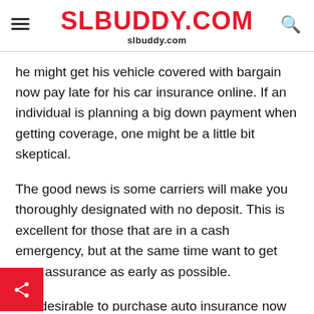SLBUDDY.COM
slbuddy.com
he might get his vehicle covered with bargain now pay late for his car insurance online. If an individual is planning a big down payment when getting coverage, one might be a little bit skeptical.
The good news is some carriers will make you thoroughly designated with no deposit. This is excellent for those that are in a cash emergency, but at the same time want to get auto assurance as early as possible.
It is desirable to purchase auto insurance now pay later policy and get your car registered. Such a scheme could be your best option if you are a daily owner with a low salary. A person may well end up